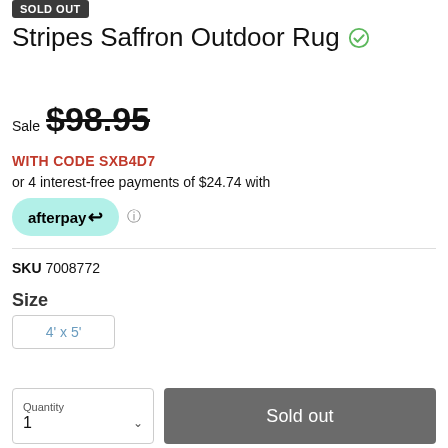SOLD OUT
Stripes Saffron Outdoor Rug
Sale $98.95
WITH CODE SXB4D7
or 4 interest-free payments of $24.74 with
[Figure (logo): Afterpay logo badge in mint/teal color with afterpay text and arrow icon]
SKU 7008772
Size
4' x 5'
Quantity 1
Sold out